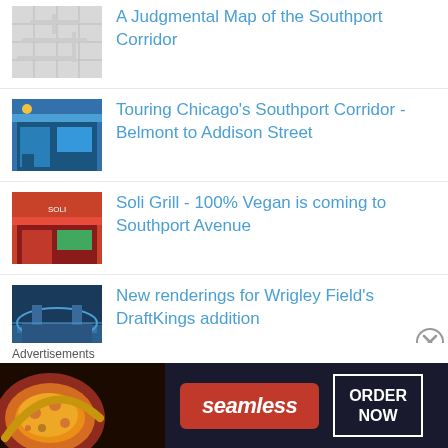A Judgmental Map of the Southport Corridor
Touring Chicago's Southport Corridor - Belmont to Addison Street
Soli Grill - 100% Vegan is coming to Southport Avenue
New renderings for Wrigley Field's DraftKings addition
Southport's Taco Fest Details
Culver's and Chick-fil-A coming to
Advertisements
[Figure (photo): Seamless advertisement banner with pizza image, Seamless logo, and ORDER NOW button]